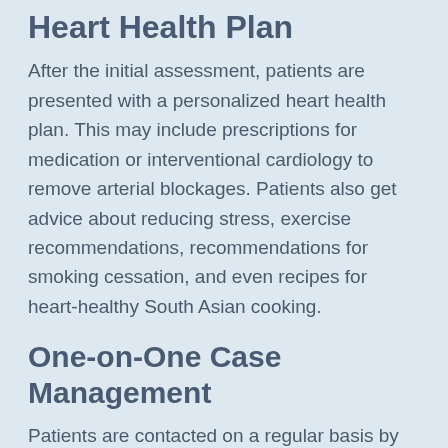Heart Health Plan
After the initial assessment, patients are presented with a personalized heart health plan. This may include prescriptions for medication or interventional cardiology to remove arterial blockages. Patients also get advice about reducing stress, exercise recommendations, recommendations for smoking cessation, and even recipes for heart-healthy South Asian cooking.
One-on-One Case Management
Patients are contacted on a regular basis by their case manager, who checks up on them and helps them stick to their health plan.